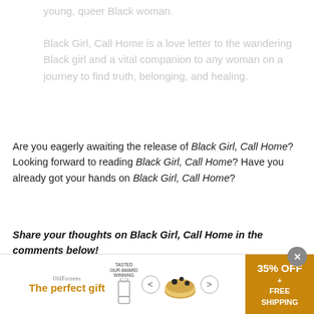young, queer Black woman.
Black Girl, Call Home is a love letter to the wandering Black girl and a vital companion to any woman on a journey to find truth, belonging, and healing.
Are you eagerly awaiting the release of Black Girl, Call Home? Looking forward to reading Black Girl, Call Home? Have you already got your hands on Black Girl, Call Home?
Share your thoughts on Black Girl, Call Home in the comments below!
[Figure (other): Advertisement banner at the bottom of the page showing 'The perfect gift' promotion with a bowl of food, arrows for navigation, and '35% OFF + FREE SHIPPING' offer in gold/amber color. Red X close button on left side and gray X dismiss button on upper right.]